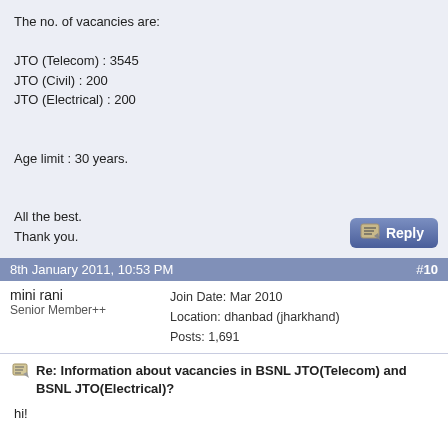The no. of vacancies are:

JTO (Telecom) : 3545
JTO (Civil) : 200
JTO (Electrical) : 200

Age limit : 30 years.

All the best.
Thank you.
[Figure (other): Reply button with pencil icon]
8th January 2011, 10:53 PM   #10
mini rani
Senior Member++
Join Date: Mar 2010
Location: dhanbad (jharkhand)
Posts: 1,691
Re: Information about vacancies in BSNL JTO(Telecom) and BSNL JTO(Electrical)?
hi!

The BSNL JTO, 2011 notification has not been issued yet. Considering that the previous notifications were issued in the month of february, you can expect that the JTO notification will be issued in february, 2011.